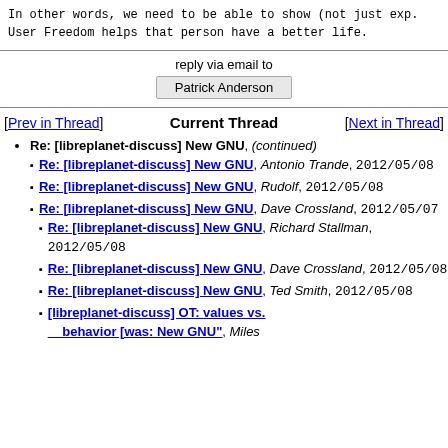In other words, we need to be able to show (not just exp. User Freedom helps that person have a better life.
reply via email to
Patrick Anderson
[Prev in Thread]   Current Thread   [Next in Thread]
Re: [libreplanet-discuss] New GNU, (continued)
Re: [libreplanet-discuss] New GNU, Antonio Trande, 2012/05/08
Re: [libreplanet-discuss] New GNU, Rudolf, 2012/05/08
Re: [libreplanet-discuss] New GNU, Dave Crossland, 2012/05/07
Re: [libreplanet-discuss] New GNU, Richard Stallman, 2012/05/08
Re: [libreplanet-discuss] New GNU, Dave Crossland, 2012/05/08
Re: [libreplanet-discuss] New GNU, Ted Smith, 2012/05/08
[libreplanet-discuss] OT: values vs. behavior [was: New GNU", Miles